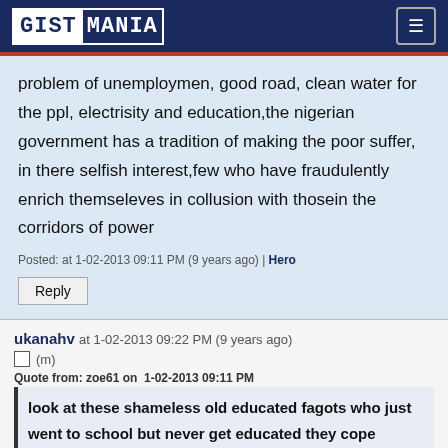GISTMANIA
problem of unemploymen, good road, clean water for the ppl, electrisity and education,the nigerian government has a tradition of making the poor suffer, in there selfish interest,few who have fraudulently enrich themseleves in collusion with thosein the corridors of power
Posted: at 1-02-2013 09:11 PM (9 years ago) | Hero
Reply
ukanahv at 1-02-2013 09:22 PM (9 years ago)
(m)
Quote from: zoe61 on  1-02-2013 09:11 PM
look at these shameless old educated fagots who just went to school but never get educated they cope america @USA for politice  still act very stupid,what is she going to do with the